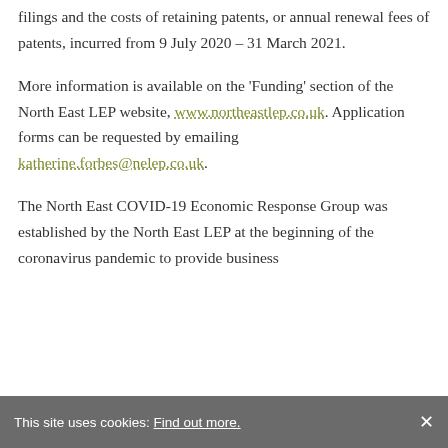filings and the costs of retaining patents, or annual renewal fees of patents, incurred from 9 July 2020 – 31 March 2021.
More information is available on the 'Funding' section of the North East LEP website, www.northeastlep.co.uk. Application forms can be requested by emailing katherine.forbes@nelep.co.uk.
The North East COVID-19 Economic Response Group was established by the North East LEP at the beginning of the coronavirus pandemic to provide business...
This site uses cookies: Find out more.